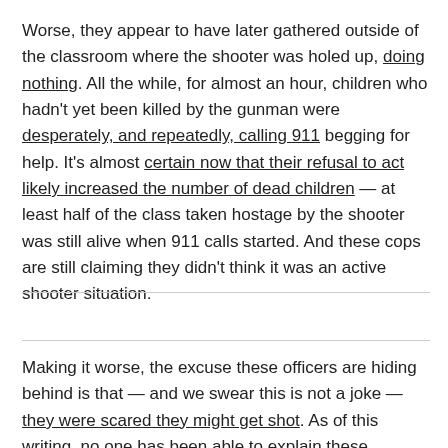Worse, they appear to have later gathered outside of the classroom where the shooter was holed up, doing nothing. All the while, for almost an hour, children who hadn't yet been killed by the gunman were desperately, and repeatedly, calling 911 begging for help. It's almost certain now that their refusal to act likely increased the number of dead children — at least half of the class taken hostage by the shooter was still alive when 911 calls started. And these cops are still claiming they didn't think it was an active shooter situation.
Making it worse, the excuse these officers are hiding behind is that — and we swear this is not a joke — they were scared they might get shot. As of this writing, no one has been able to explain these astounding moral and professional